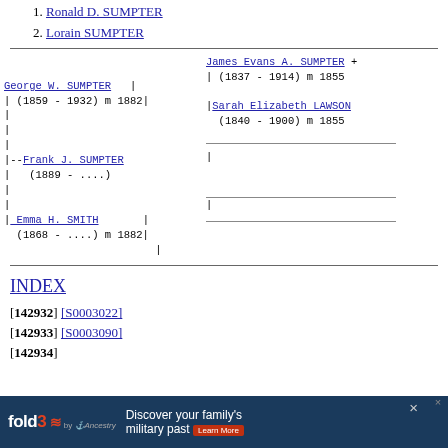1.  Ronald D. SUMPTER
2.  Lorain SUMPTER
[Figure (other): Genealogy tree diagram showing Frank J. SUMPTER (1889-....) with parents George W. SUMPTER (1859-1932) m 1882 and Emma H. SMITH (1868-....) m 1882, and paternal grandparents James Evans A. SUMPTER (1837-1914) m 1855 and Sarah Elizabeth LAWSON (1840-1900) m 1855]
INDEX
[142932] [S0003022]
[142933] [S0003090]
[142934]